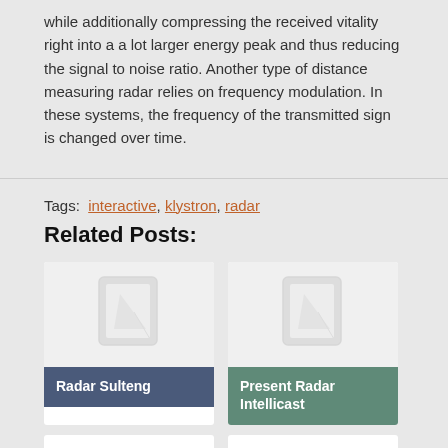while additionally compressing the received vitality right into a a lot larger energy peak and thus reducing the signal to noise ratio. Another type of distance measuring radar relies on frequency modulation. In these systems, the frequency of the transmitted sign is changed over time.
Tags: interactive, klystron, radar
Related Posts:
[Figure (illustration): Card thumbnail placeholder icon for Radar Sulteng post]
Radar Sulteng
[Figure (illustration): Card thumbnail placeholder icon for Present Radar Intellicast post]
Present Radar Intellicast